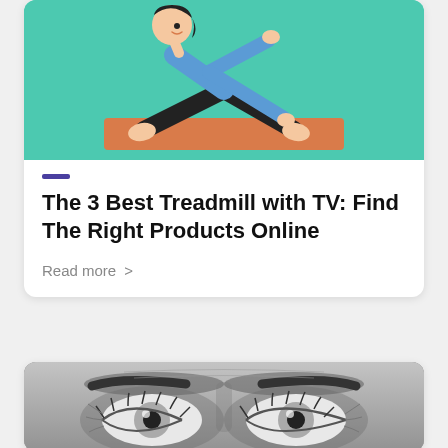[Figure (illustration): Cartoon illustration of a person doing a yoga triangle pose on an orange mat, against a teal background]
The 3 Best Treadmill with TV: Find The Right Products Online
Read more >
[Figure (photo): Black and white close-up photo of a person's eyes with an intense wide-eyed expression]